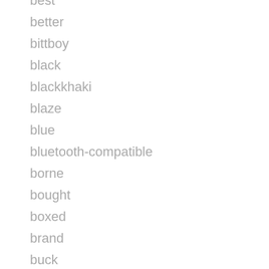best
better
bittboy
black
blackkhaki
blaze
blue
bluetooth-compatible
borne
bought
boxed
brand
buck
build
built
capcom